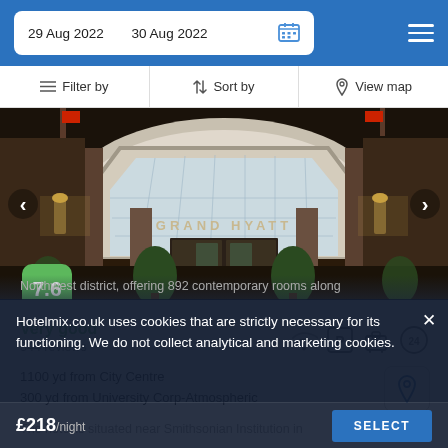29 Aug 2022   30 Aug 2022
Filter by   Sort by   View map
[Figure (photo): Grand Hyatt hotel entrance with ornate arched glass canopy, score badge 7.6 in green]
Very good
344 reviews
1100 yd from City Centre
300 yd from University Corp-Atmospheric
The hotel is situated near Smithsonian Institution in
Northwest district, offering 892 contemporary rooms along...
Hotelmix.co.uk uses cookies that are strictly necessary for its functioning. We do not collect analytical and marketing cookies.
£218/night   SELECT